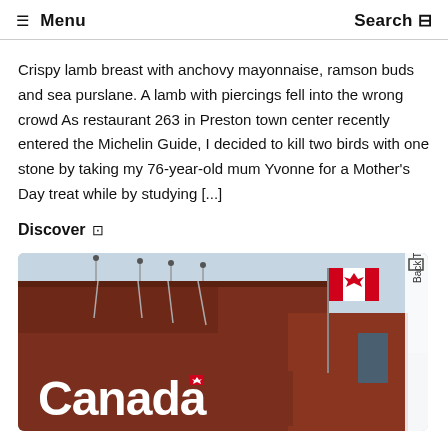☰ Menu   Search
Crispy lamb breast with anchovy mayonnaise, ramson buds and sea purslane. A lamb with piercings fell into the wrong crowd As restaurant 263 in Preston town center recently entered the Michelin Guide, I decided to kill two birds with one stone by taking my 76-year-old mum Yvonne for a Mother's Day treat while by studying [...]
Discover →
[Figure (photo): Exterior of a red brick building with a large white 'Canada' wordmark sign including the Canadian flag maple leaf symbol. A Canadian flag on a flagpole is visible in the background against a light blue sky. A 'Back To Top' vertical label appears on the right side.]